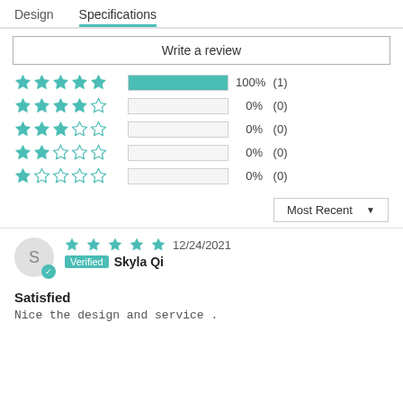Design   Specifications
Write a review
[Figure (infographic): Star rating breakdown: 5 stars 100% (1), 4 stars 0% (0), 3 stars 0% (0), 2 stars 0% (0), 1 star 0% (0)]
Most Recent ▼
★★★★★ 12/24/2021  Verified  Skyla Qi
Satisfied
Nice the design and service .